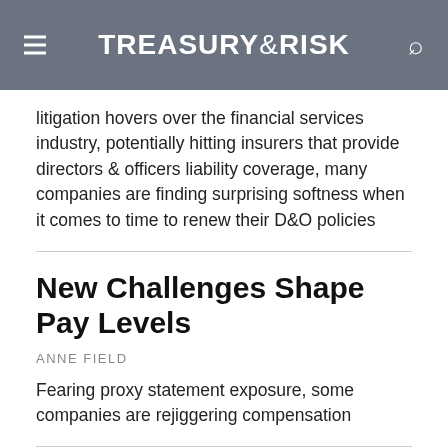TREASURY&RISK
litigation hovers over the financial services industry, potentially hitting insurers that provide directors & officers liability coverage, many companies are finding surprising softness when it comes to time to renew their D&O policies
New Challenges Shape Pay Levels
ANNE FIELD
Fearing proxy statement exposure, some companies are rejiggering compensation